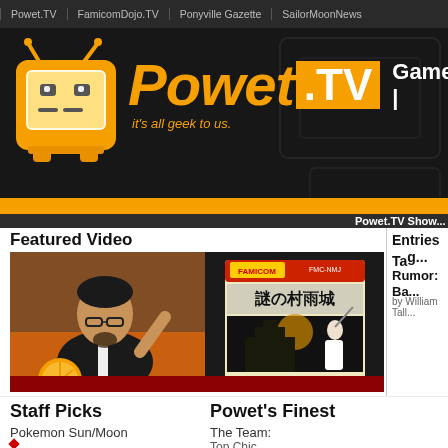Powet.TV | FamicomDojo.TV | Ponyville Gazette | SailorMoonNews
[Figure (screenshot): Powet.TV website header with orange TV mascot logo, site name 'Powet.TV', tagline 'it's all geek to us.', and 'Games |' navigation]
Powet.TV Sho...
Featured Video
[Figure (screenshot): Featured video thumbnail showing a man in a black shirt with a Japanese Famicom game box (Nazo no Murasame-jo / 謎の村雨城)]
Entries Tage
Rumor: Ba...
by William Tall...
Staff Picks
Pokemon Sun/Moon
Powet's Finest
The Team:
Top Chic...